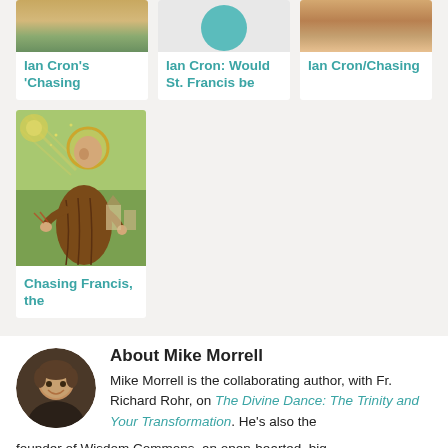[Figure (photo): Landscape photo thumbnail]
[Figure (photo): Circular teal profile image]
[Figure (photo): Person photo thumbnail]
Ian Cron's 'Chasing
Ian Cron: Would St. Francis be
Ian Cron/Chasing
[Figure (illustration): Painting of Saint Francis of Assisi with halo, brown robe, looking upward, with rays of light]
Chasing Francis, the
[Figure (photo): Circular headshot of Mike Morrell, a man with short brown hair smiling]
About Mike Morrell
Mike Morrell is the collaborating author, with Fr. Richard Rohr, on The Divine Dance: The Trinity and Your Transformation. He's also the
founder of Wisdom Commons, an open-hearted, big-